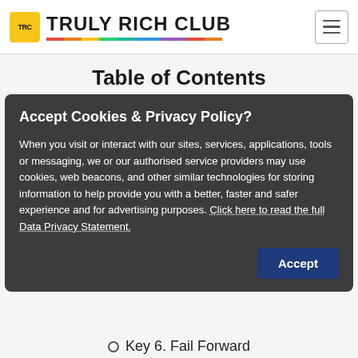TRULY RICH CLUB
Table of Contents
Accept Cookies & Privacy Policy?

When you visit or interact with our sites, services, applications, tools or messaging, we or our authorised service providers may use cookies, web beacons, and other similar technologies for storing information to help provide you with a better, faster and safer experience and for advertising purposes. Click here to read the full Data Privacy Statement.
Key 6. Fail Forward